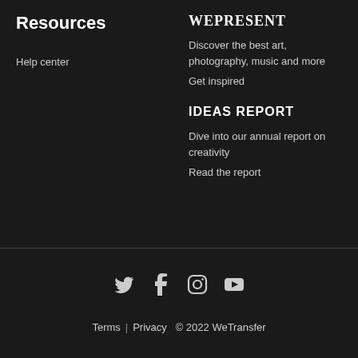Resources
Help center
WEPRESENT
Discover the best art, photography, music and more
Get inspired
IDEAS REPORT
Dive into our annual report on creativity
Read the report
Terms | Privacy © 2022 WeTransfer